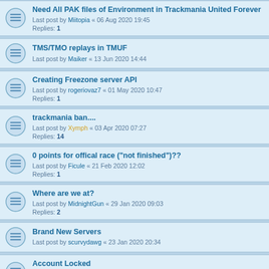Need All PAK files of Environment in Trackmania United Forever
Last post by Miitopia « 06 Aug 2020 19:45
Replies: 1
TMS/TMO replays in TMUF
Last post by Maiker « 13 Jun 2020 14:44
Creating Freezone server API
Last post by rogeriovaz7 « 01 May 2020 10:47
Replies: 1
trackmania ban....
Last post by Xymph « 03 Apr 2020 07:27
Replies: 14
0 points for offical race ("not finished")??
Last post by Ficule « 21 Feb 2020 12:02
Replies: 1
Where are we at?
Last post by MidnightGun « 29 Jan 2020 09:03
Replies: 2
Brand New Servers
Last post by scurvydawg « 23 Jan 2020 20:34
Account Locked
Last post by VincyTM « 21 Jan 2020 06:25
Replies: 2
What "My Campaign" tracks have highest SP?
Last post by NoTimeToDrive « 17 Nov 2019 15:29
Replies: 3
Shader quality breaking my game.